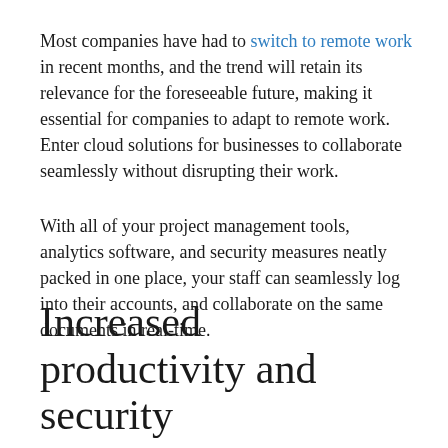Most companies have had to switch to remote work in recent months, and the trend will retain its relevance for the foreseeable future, making it essential for companies to adapt to remote work. Enter cloud solutions for businesses to collaborate seamlessly without disrupting their work.
With all of your project management tools, analytics software, and security measures neatly packed in one place, your staff can seamlessly log into their accounts, and collaborate on the same documents in real-time.
Increased productivity and security